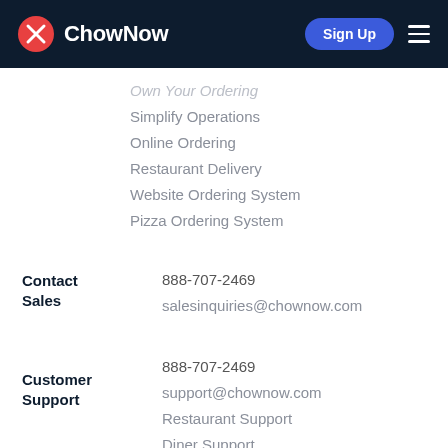ChowNow — Sign Up
Own Your Ordering
Simplify Operations
Online Ordering
Restaurant Delivery
Website Ordering System
Pizza Ordering System
Contact Sales
888-707-2469
salesinquiries@chownow.com
Customer Support
888-707-2469
support@chownow.com
Restaurant Support
Diner Support